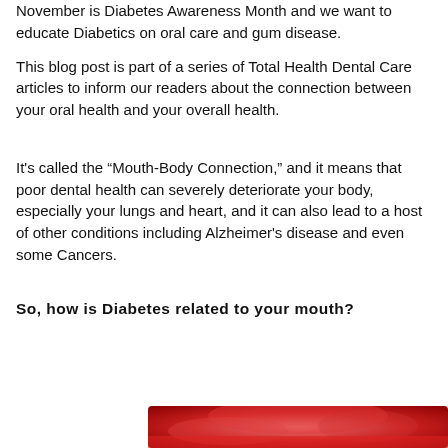November is Diabetes Awareness Month and we want to educate Diabetics on oral care and gum disease.
This blog post is part of a series of Total Health Dental Care articles to inform our readers about the connection between your oral health and your overall health.
It's called the “Mouth-Body Connection,” and it means that poor dental health can severely deteriorate your body, especially your lungs and heart, and it can also lead to a host of other conditions including Alzheimer's disease and even some Cancers.
So, how is Diabetes related to your mouth?
[Figure (photo): Partial image of a red and pink circular graphic, likely related to diabetes or oral health, cropped at the bottom of the page.]